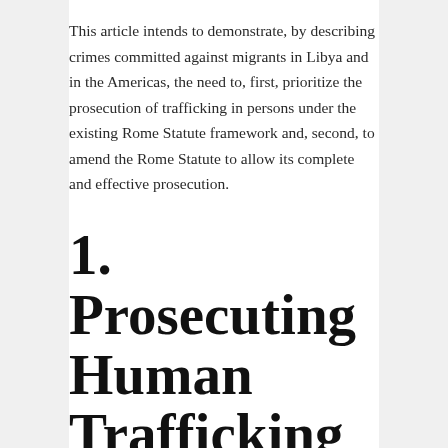This article intends to demonstrate, by describing crimes committed against migrants in Libya and in the Americas, the need to, first, prioritize the prosecution of trafficking in persons under the existing Rome Statute framework and, second, to amend the Rome Statute to allow its complete and effective prosecution.
1. Prosecuting Human Trafficking under the